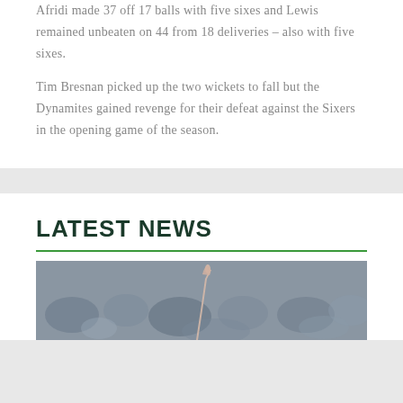Afridi made 37 off 17 balls with five sixes and Lewis remained unbeaten on 44 from 18 deliveries – also with five sixes.
Tim Bresnan picked up the two wickets to fall but the Dynamites gained revenge for their defeat against the Sixers in the opening game of the season.
LATEST NEWS
[Figure (photo): A photograph showing a person raising their hand/arm, with a blurred crowd in the background.]